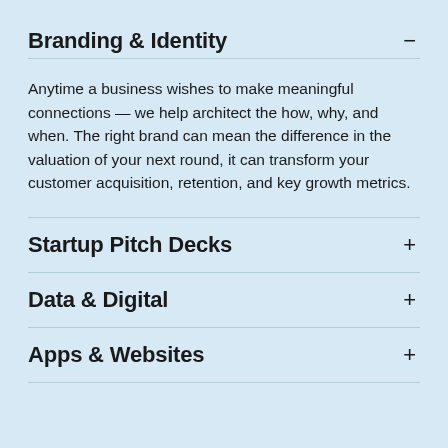Branding & Identity
Anytime a business wishes to make meaningful connections — we help architect the how, why, and when. The right brand can mean the difference in the valuation of your next round, it can transform your customer acquisition, retention, and key growth metrics.
Startup Pitch Decks
Data & Digital
Apps & Websites